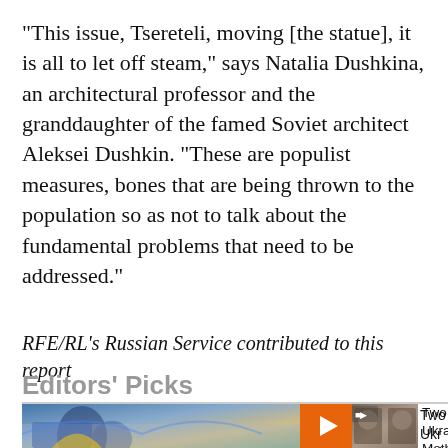"This issue, Tsereteli, moving [the statue], it is all to let off steam," says Natalia Dushkina, an architectural professor and the granddaughter of the famed Soviet architect Aleksei Dushkin. "These are populist measures, bones that are being thrown to the population so as not to talk about the fundamental problems that need to be addressed."
RFE/RL's Russian Service contributed to this report
Editors' Picks
[Figure (photo): Thumbnail image showing a person with a Ukrainian flag on the left side, and a smaller video thumbnail on the right showing two portrait photos]
Two Ukrainian Mothers Struggle To Retrieve Their Sons' Remains